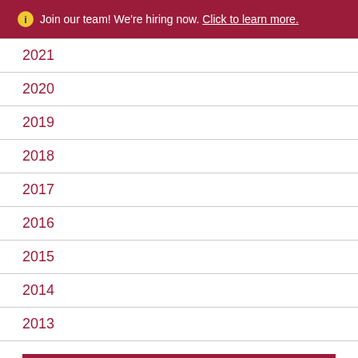ⓘ Join our team! We're hiring now. Click to learn more.
2021
2020
2019
2018
2017
2016
2015
2014
2013
Free Consultation